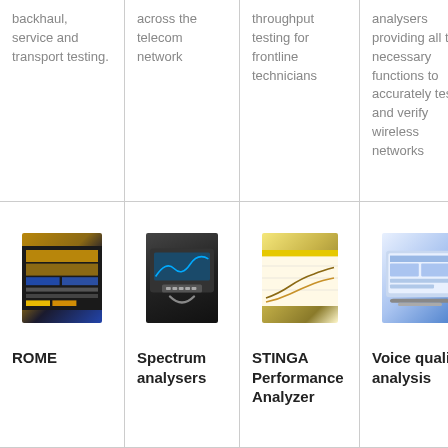backhaul, service and transport testing.
across the telecom network
throughput testing for frontline technicians
analysers providing all the necessary functions to accurately test and verify wireless networks
[Figure (photo): ROME hardware unit - rack-mounted equipment with yellow and blue modules]
ROME
[Figure (photo): Spectrum analyser device - portable handheld unit with screen and keyboard]
Spectrum analysers
[Figure (photo): STINGA Performance Analyzer software screenshot showing waveform curves]
STINGA Performance Analyzer
[Figure (photo): Voice quality analysis software shown on a laptop screen]
Voice quality analysis